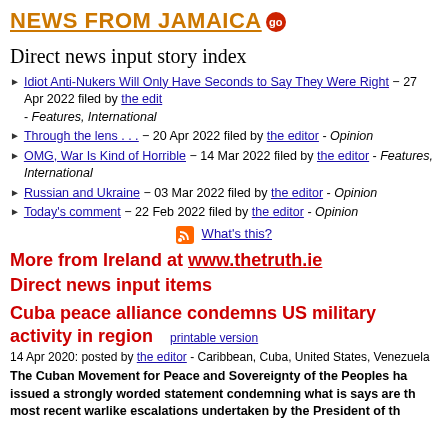NEWS FROM JAMAICA go
Direct news input story index
Idiot Anti-Nukers Will Only Have Seconds to Say They Were Right − 27 Apr 2022 filed by the editor - Features, International
Through the lens . . . − 20 Apr 2022 filed by the editor - Opinion
OMG, War Is Kind of Horrible − 14 Mar 2022 filed by the editor - Features, International
Russian and Ukraine − 03 Mar 2022 filed by the editor - Opinion
Today's comment − 22 Feb 2022 filed by the editor - Opinion
[Figure (other): RSS feed icon with What's this? link]
More from Ireland at www.thetruth.ie
Direct news input items
Cuba peace alliance condemns US military activity in region  printable version
14 Apr 2020: posted by the editor - Caribbean, Cuba, United States, Venezuela
The Cuban Movement for Peace and Sovereignty of the Peoples ha issued a strongly worded statement condemning what is says are t most recent warlike escalations undertaken by the President of th